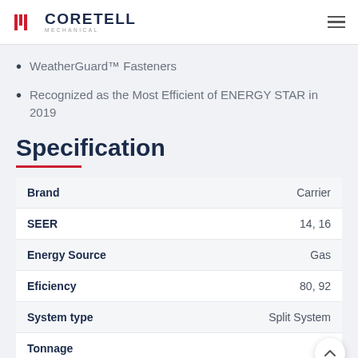CORETELL MECHANICAL
WeatherGuard™ Fasteners
Recognized as the Most Efficient of ENERGY STAR in 2019
Specification
|  |  |
| --- | --- |
| Brand | Carrier |
| SEER | 14, 16 |
| Energy Source | Gas |
| Eficiency | 80, 92 |
| System type | Split System |
| Tonnage | 4 |